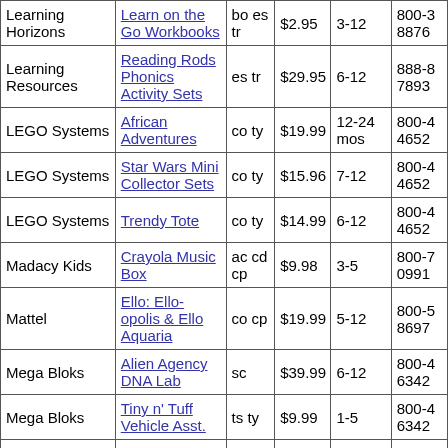| Company | Product | Type | Price | Age | Phone |
| --- | --- | --- | --- | --- | --- |
| Learning Horizons | Learn on the Go Workbooks | bo es tr | $2.95 | 3-12 | 800-3 8876 |
| Learning Resources | Reading Rods Phonics Activity Sets | es tr | $29.95 | 6-12 | 888-8 7893 |
| LEGO Systems | African Adventures | co ty | $19.99 | 12-24 mos | 800-4 4652 |
| LEGO Systems | Star Wars Mini Collector Sets | co ty | $15.96 | 7-12 | 800-4 4652 |
| LEGO Systems | Trendy Tote | co ty | $14.99 | 6-12 | 800-4 4652 |
| Madacy Kids | Crayola Music Box | ac cd cp | $9.98 | 3-5 | 800-7 0991 |
| Mattel | Ello: Ello-opolis & Ello Aquaria | co cp | $19.99 | 5-12 | 800-5 8697 |
| Mega Bloks | Alien Agency DNA Lab | sc | $39.99 | 6-12 | 800-4 6342 |
| Mega Bloks | Tiny n' Tuff Vehicle Asst. | ts ty | $9.99 | 1-5 | 800-4 6342 |
| MGA Entertainment | MicroBlast Racers Race & | cp el | $24.99 | 6-12 | 800-2 4686 |